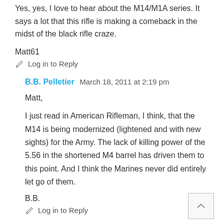Yes, yes, I love to hear about the M14/M1A series. It says a lot that this rifle is making a comeback in the midst of the black rifle craze.
Matt61
✏ Log in to Reply
B.B. Pelletier  March 18, 2011 at 2:19 pm
Matt,
I just read in American Rifleman, I think, that the M14 is being modernized (lightened and with new sights) for the Army. The lack of killing power of the 5.56 in the shortened M4 barrel has driven them to this point. And I think the Marines never did entirely let go of them.
B.B.
✏ Log in to Reply